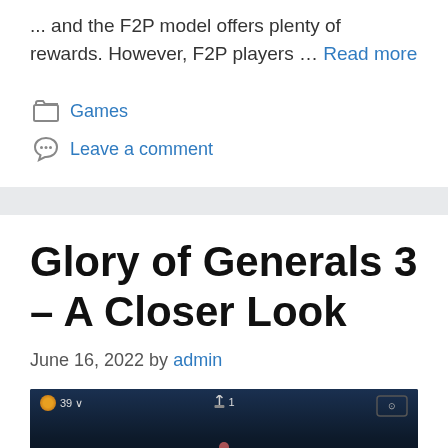... and the F2P model offers plenty of rewards. However, F2P players … Read more
Games
Leave a comment
Glory of Generals 3 – A Closer Look
June 16, 2022 by admin
[Figure (screenshot): Dark-themed mobile game screenshot of Glory of Generals 3 showing a top-down military map view with HUD elements including a sun/fire icon showing '39', a flag icon showing '1', and navigation controls on the right.]